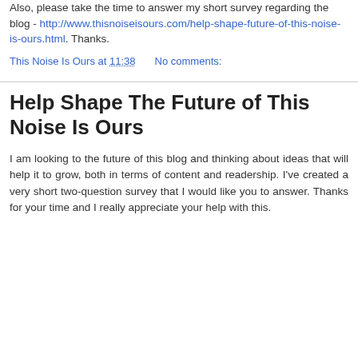Also, please take the time to answer my short survey regarding the blog - http://www.thisnoiseisours.com/help-shape-future-of-this-noise-is-ours.html. Thanks.
This Noise Is Ours at 11:38    No comments:
Help Shape The Future of This Noise Is Ours
I am looking to the future of this blog and thinking about ideas that will help it to grow, both in terms of content and readership. I've created a very short two-question survey that I would like you to answer. Thanks for your time and I really appreciate your help with this.